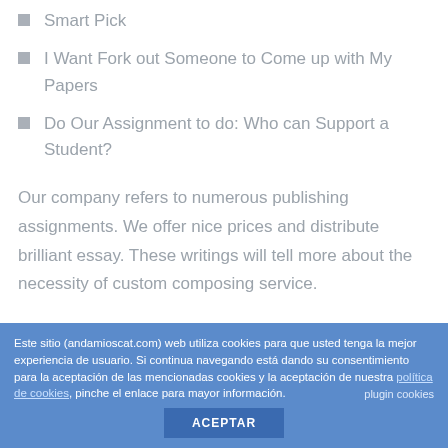Smart Pick
I Want Fork out Someone to Come up with My Papers
Do Our Assignment to do: Who can Support a Student?
Our company refers to numerous publishing assignments. We offer nice prices and distribute brilliant essay. These writings will tell more about the necessity of custom composing service.
Comfort Zone and folks
The biggest opposing players of increase is
Este sitio (andamioscat.com) web utiliza cookies para que usted tenga la mejor experiencia de usuario. Si continua navegando está dando su consentimiento para la aceptación de las mencionadas cookies y la aceptación de nuestra política de cookies, pinche el enlace para mayor información.
plugin cookies
ACEPTAR